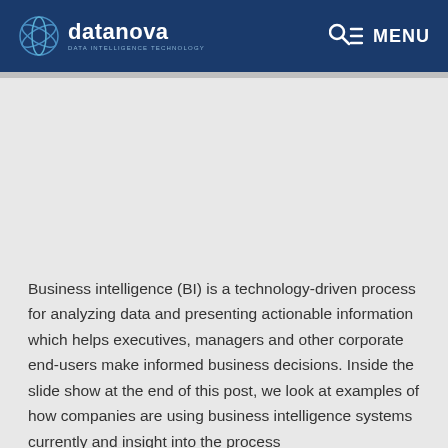datanova | MENU
Business intelligence (BI) is a technology-driven process for analyzing data and presenting actionable information which helps executives, managers and other corporate end-users make informed business decisions. Inside the slide show at the end of this post, we look at examples of how companies are using business intelligence systems currently and insight into the process